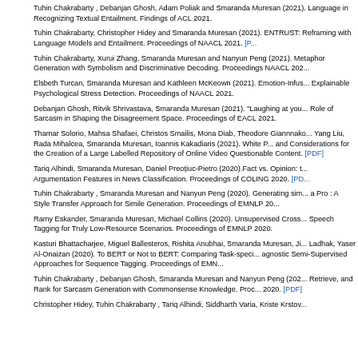Tuhin Chakrabarty , Debanjan Ghosh, Adam Poliak and Smaranda Muresan (2021). Language in Recognizing Textual Entailment. Findings of ACL 2021.
Tuhin Chakrabarty, Christopher Hidey and Smaranda Muresan (2021). ENTRUST: Reframing with Language Models and Entailment. Proceedings of NAACL 2021. [PDF]
Tuhin Chakrabarty, Xurui Zhang, Smaranda Muresan and Nanyun Peng (2021). Metaphor Generation with Symbolism and Discriminative Decoding. Proceedings NAACL 2021.
Elsbeth Turcan, Smaranda Muresan and Kathleen McKeown (2021). Emotion-Infused Explainable Psychological Stress Detection. Proceedings of NAACL 2021.
Debanjan Ghosh, Ritvik Shrivastava, Smaranda Muresan (2021). "Laughing at you or with you": Role of Sarcasm in Shaping the Disagreement Space. Proceedings of EACL 2021.
Thamar Solorio, Mahsa Shafaei, Christos Smailis, Mona Diab, Theodore Giannakopolous, Yang Liu, Rada Mihalcea, Smaranda Muresan, Ioannis Kakadiaris (2021). White Paper and Considerations for the Creation of a Large Labelled Repository of Online Video Questionable Content. [PDF]
Tariq Alhindi, Smaranda Muresan, Daniel Preoțiuc-Pietro (2020).Fact vs. Opinion: the Role of Argumentation Features in News Classification. Proceedings of COLING 2020. [PDF]
Tuhin Chakrabarty , Smaranda Muresan and Nanyun Peng (2020). Generating similes effortlessly like a Pro : A Style Transfer Approach for Simile Generation. Proceedings of EMNLP 2020.
Ramy Eskander, Smaranda Muresan, Michael Collins (2020). Unsupervised Cross-Lingual Part-of-Speech Tagging for Truly Low-Resource Scenarios. Proceedings of EMNLP 2020.
Kasturi Bhattacharjee, Miguel Ballesteros, Rishita Anubhai, Smaranda Muresan, Jie Ma, Faisal Ladhak, Yaser Al-Onaizan (2020). To BERT or Not to BERT: Comparing Task-specific and Task-agnostic Semi-Supervised Approaches for Sequence Tagging. Proceedings of EMNLP 2020.
Tuhin Chakrabarty , Debanjan Ghosh, Smaranda Muresan and Nanyun Peng (2020). Retrieve, and Rank for Sarcasm Generation with Commonsense Knowledge. Proceedings of EMNLP 2020. [PDF]
Christopher Hidey, Tuhin Chakrabarty , Tariq Alhindi, Siddharth Varia, Kriste Krstovski...